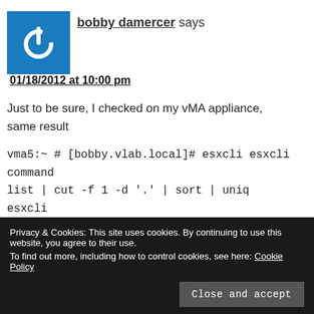[Figure (logo): Blue square avatar with white power button icon]
bobby damercer says
01/18/2012 at 10:00 pm
Just to be sure, I checked on my vMA appliance, same result
vma5:~ # [bobby.vlab.local]# esxcli esxcli command list | cut -f 1 -d '.' | sort | uniq
esxcli
f...
software
Privacy & Cookies: This site uses cookies. By continuing to use this website, you agree to their use.
To find out more, including how to control cookies, see here: Cookie Policy
Close and accept